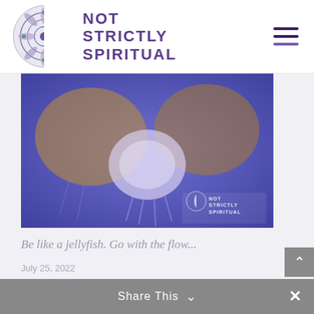[Figure (logo): Not Strictly Spiritual website header logo with mandala illustration on left and bold purple text reading NOT STRICTLY SPIRITUAL on the right. Hamburger menu icon on far right.]
[Figure (photo): Jellyfish photo with purple/blue tint showing multiple jellyfish. Watermark in bottom right reads NOT STRICTLY SPIRITUAL with a half-mandala logo.]
Be like a jellyfish. Go with the flow...
July 25, 2022
CATEGORIES
Select Category